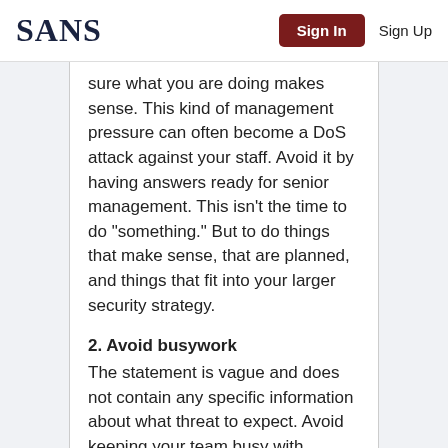SANS | Sign In | Sign Up
sure what you are doing makes sense. This kind of management pressure can often become a DoS attack against your staff. Avoid it by having answers ready for senior management. This isn't the time to do "something." But to do things that make sense, that are planned, and things that fit into your larger security strategy.
2. Avoid busywork
The statement is vague and does not contain any specific information about what threat to expect. Avoid keeping your team busy with